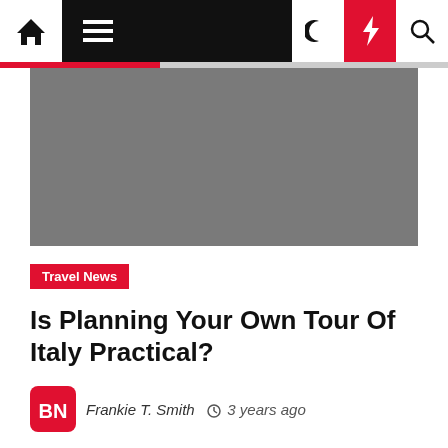Navigation bar with home, menu, moon, bolt, and search icons
[Figure (photo): Gray placeholder hero image for article about planning a tour of Italy]
Travel News
Is Planning Your Own Tour Of Italy Practical?
Frankie T. Smith  3 years ago